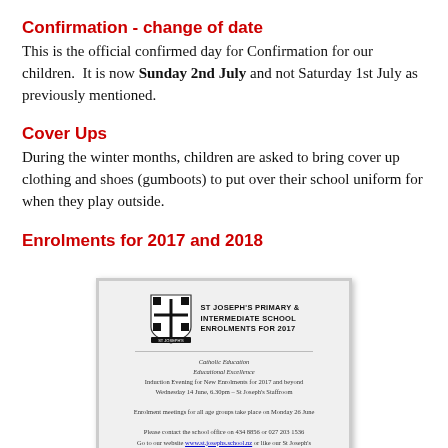Confirmation - change of date
This is the official confirmed day for Confirmation for our children.  It is now Sunday 2nd July and not Saturday 1st July as previously mentioned.
Cover Ups
During the winter months, children are asked to bring cover up clothing and shoes (gumboots) to put over their school uniform for when they play outside.
Enrolments for 2017 and 2018
[Figure (illustration): Flyer for St Joseph's Primary & Intermediate School Enrolments for 2017, showing school crest, Catholic Education / Educational Excellence text, Induction Evening details for Wednesday 14 June 6.30pm at St Joseph's Staffroom, enrolment meetings on Monday 26 June, contact details and website.]